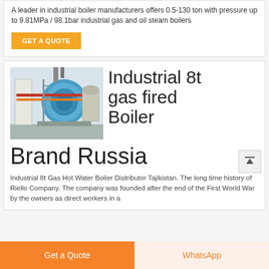A leader in industrial boiler manufacturers offers 0.5-130 ton with pressure up to 9.81MPa / 98.1bar industrial gas and oil steam boilers
GET A QUOTE
[Figure (photo): Industrial boiler equipment in a factory setting, showing large blue cylindrical boilers with red and orange pipes and metal scaffolding]
Industrial 8t gas fired Boiler Brand Russia
Industrial 8t Gas Hot Water Boiler Distributor Tajikistan. The long time history of Riello Company. The company was founded after the end of the First World War by the owners as direct workers in a
Get a Quote
WhatsApp